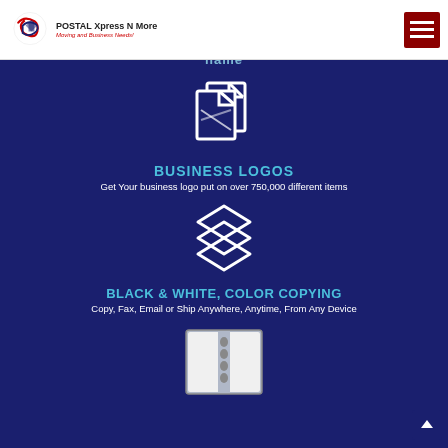[Figure (logo): POSTAL Xpress N More logo with icon and tagline 'Moving and Business Needs!']
[Figure (illustration): Hamburger/menu icon button in dark red]
name
[Figure (illustration): Two overlapping document/page icons in white on dark blue background]
BUSINESS LOGOS
Get Your business logo put on over 750,000 different items
[Figure (illustration): Three stacked diamond/layer icons in white on dark blue background]
BLACK & WHITE, COLOR COPYING
Copy, Fax, Email or Ship Anywhere, Anytime, From Any Device
[Figure (illustration): Notebook/binder icon in grey on dark blue background]